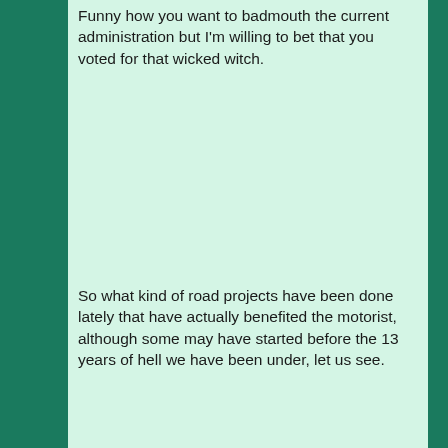Funny how you want to badmouth the current administration but I'm willing to bet that you voted for that wicked witch.
So what kind of road projects have been done lately that have actually benefited the motorist, although some may have started before the 13 years of hell we have been under, let us see.
2004 - Introduction of HOV Lanes on Hwy 403 and 404 (yup that's right folks, there wasn't an HOV lane before the Liberals got in), as I am a HUGE opponent of HOV lanes, as they